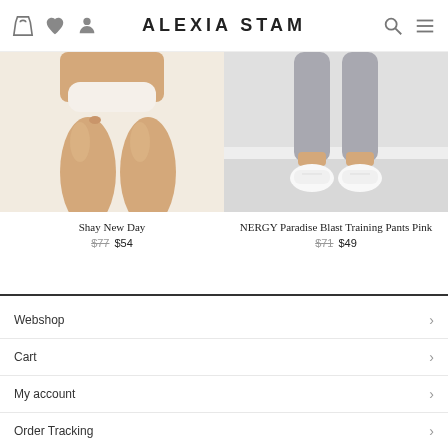ALEXIA STAM
[Figure (photo): Product photo of Shay New Day item – close-up of female legs/torso in white swimwear against white background]
Shay New Day
$77  $54
[Figure (photo): Product photo of NERGY Paradise Blast Training Pants Pink – lower body wearing grey training pants and white sneakers against white background]
NERGY Paradise Blast Training Pants Pink
$71  $49
Webshop
Cart
My account
Order Tracking
Lookbook